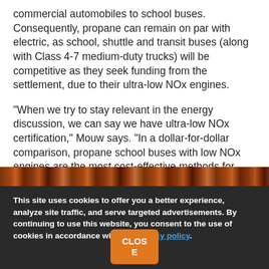commercial automobiles to school buses. Consequently, propane can remain on par with electric, as school, shuttle and transit buses (along with Class 4-7 medium-duty trucks) will be competitive as they seek funding from the settlement, due to their ultra-low NOx engines.
“When we try to stay relevant in the energy discussion, we can say we have ultra-low NOx certification,” Mouw says. “In a dollar-for-dollar comparison, propane school buses with low NOx engines are the most cost-effective methods for using settlement funding.”
[Figure (photo): Partial photo strip showing orange/brown tones, likely buses or vehicles]
This site uses cookies to offer you a better experience, analyze site traffic, and serve targeted advertisements. By continuing to use this website, you consent to the use of cookies in accordance with our privacy policy.